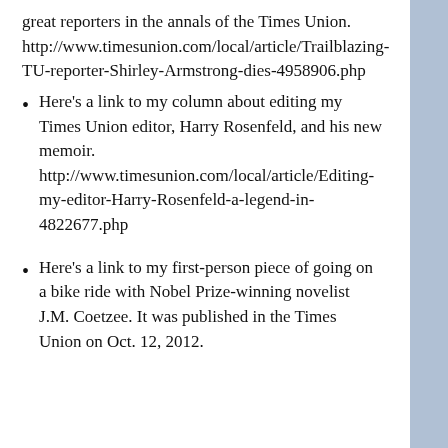great reporters in the annals of the Times Union. http://www.timesunion.com/local/article/Trailblazing-TU-reporter-Shirley-Armstrong-dies-4958906.php
Here's a link to my column about editing my Times Union editor, Harry Rosenfeld, and his new memoir. http://www.timesunion.com/local/article/Editing-my-editor-Harry-Rosenfeld-a-legend-in-4822677.php
Here's a link to my first-person piece of going on a bike ride with Nobel Prize-winning novelist J.M. Coetzee. It was published in the Times Union on Oct. 12, 2012.